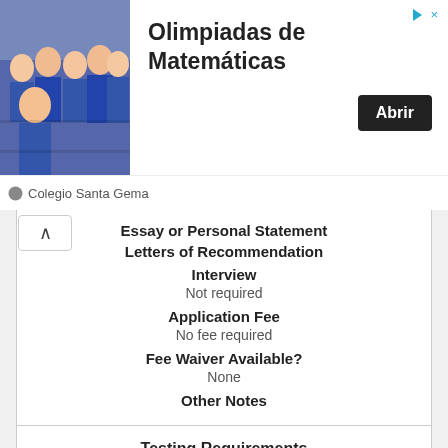[Figure (photo): Advertisement banner showing a group of female students in blue uniforms with text 'Olimpiadas de Matemáticas', 'Colegio Santa Gema', and an 'Abrir' button]
Essay or Personal Statement
Letters of Recommendation
Interview
Not required
Application Fee
No fee required
Fee Waiver Available?
None
Other Notes
Testing Requirements
SAT or ACT
SAT Essay or ACT Writing
None
SAT Subject Tests
Scores Due in Office